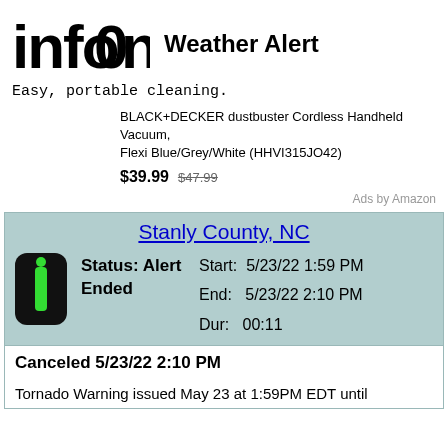[Figure (logo): infoOne logo in bold black text with stylized letters]
Weather Alert
Easy, portable cleaning.
BLACK+DECKER dustbuster Cordless Handheld Vacuum, Flexi Blue/Grey/White (HHVI315JO42)
$39.99  $47.99
Ads by Amazon
Stanly County, NC
Status: Alert Ended
Start: 5/23/22 1:59 PM
End: 5/23/22 2:10 PM
Dur: 00:11
Canceled 5/23/22 2:10 PM
Tornado Warning issued May 23 at 1:59PM EDT until